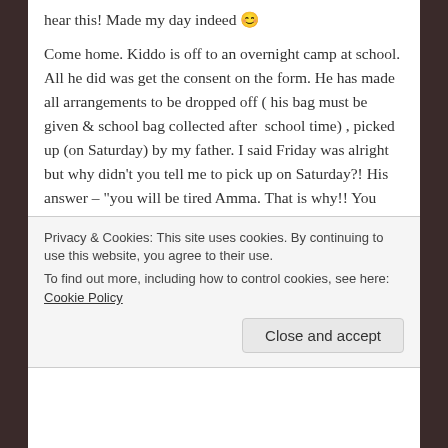hear this! Made my day indeed 😊
Come home. Kiddo is off to an overnight camp at school. All he did was get the consent on the form. He has made all arrangements to be dropped off ( his bag must be given & school bag collected after  school time) , picked up (on Saturday) by my father. I said Friday was alright but why didn't you tell me to pick up on Saturday?! His answer – "you will be tired Amma. That is why!! You could rest up. "
Privacy & Cookies: This site uses cookies. By continuing to use this website, you agree to their use.
To find out more, including how to control cookies, see here: Cookie Policy
Close and accept